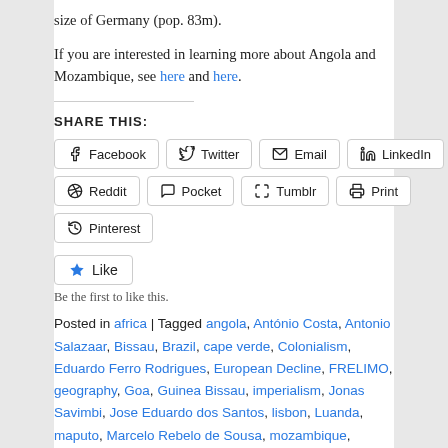size of Germany (pop. 83m).
If you are interested in learning more about Angola and Mozambique, see here and here.
SHARE THIS:
Facebook Twitter Email LinkedIn Reddit Pocket Tumblr Print Pinterest
Like
Be the first to like this.
Posted in africa | Tagged angola, António Costa, Antonio Salazaar, Bissau, Brazil, cape verde, Colonialism, Eduardo Ferro Rodrigues, European Decline, FRELIMO, geography, Goa, Guinea Bissau, imperialism, Jonas Savimbi, Jose Eduardo dos Santos, lisbon, Luanda, maputo, Marcelo Rebelo de Sousa, mozambique, MPLA, neocolonialism, Porto, Portuguese Empire, RENAMO, Samora Machel, sao